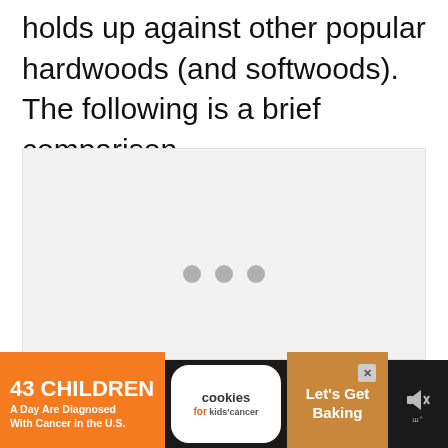holds up against other popular hardwoods (and softwoods). The following is a brief comparison.
[Figure (other): Loading placeholder area with three grey dots indicating content is loading]
[Figure (other): Advertisement banner: '43 CHILDREN A Day Are Diagnosed With Cancer in the U.S.' with cookies for kids' cancer logo and 'Let's Get Baking' call to action]